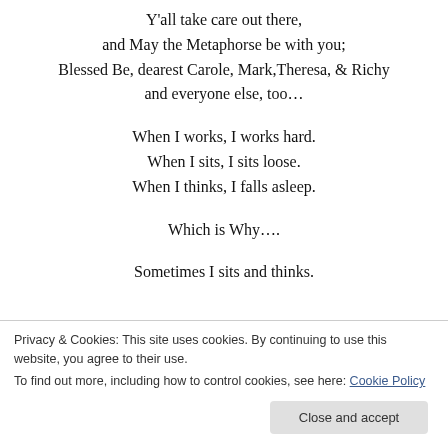Y'all take care out there,
and May the Metaphorse be with you;
Blessed Be, dearest Carole, Mark,Theresa, & Richy
and everyone else, too…
When I works, I works hard.
When I sits, I sits loose.
When I thinks, I falls asleep.
Which is Why….
Sometimes I sits and thinks.
Privacy & Cookies: This site uses cookies. By continuing to use this website, you agree to their use.
To find out more, including how to control cookies, see here: Cookie Policy
The *only* duly authorized Computer Curmudgeon.